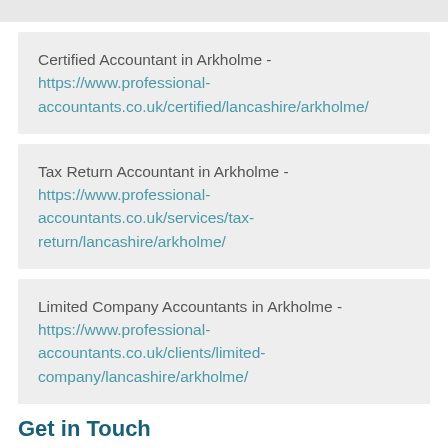Certified Accountant in Arkholme - https://www.professional-accountants.co.uk/certified/lancashire/arkholme/
Tax Return Accountant in Arkholme - https://www.professional-accountants.co.uk/services/tax-return/lancashire/arkholme/
Limited Company Accountants in Arkholme - https://www.professional-accountants.co.uk/clients/limited-company/lancashire/arkholme/
Get in Touch
Feel free to contact our experts if you'd like more information about the prices for these services. Use the contact section to talk to a member of staff so we may provide further details on everything we can do. We may set you up with a professional chartered accountant in Arkholme LA6 1 as soon as we agree on prices and